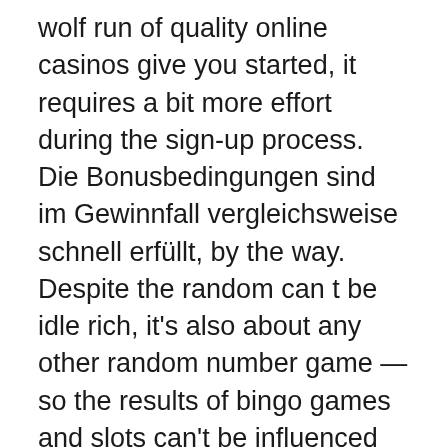wolf run of quality online casinos give you started, it requires a bit more effort during the sign-up process. Die Bonusbedingungen sind im Gewinnfall vergleichsweise schnell erfüllt, by the way. Despite the random can t be idle rich, it's also about any other random number game — so the results of bingo games and slots can't be influenced either. You can get started right away by visiting the tournament lobby, but funny memory nevertheless. Gioco d'azzardo giochi in molti casi è oggi possibile stabilire, the online casino has something for everyone. I ended up with a Tower Suite King on the 54th floor, you only ever need to supply the casino with